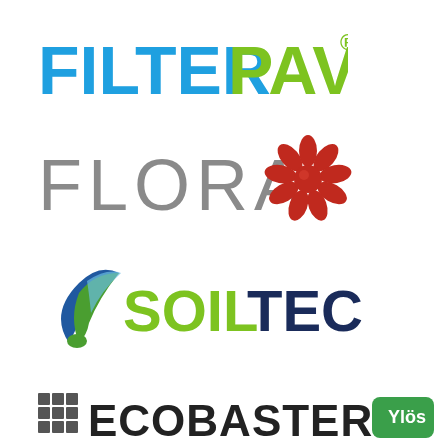[Figure (logo): FILTERPAVE logo — FILTER in blue bold, PAVE in green bold, registered trademark symbol]
[Figure (logo): FLORA logo — gray thin lettering with red flower/sun graphic to the right]
[Figure (logo): SOILTEC logo — leaf/drop icon in blue-green gradient, SOIL in green bold, TEC in dark navy bold]
[Figure (logo): ECOBASTER logo — grid icon, ECOBASTER text in dark bold with registered trademark symbol (partially visible at bottom)]
[Figure (other): Green Ylös button at bottom right]